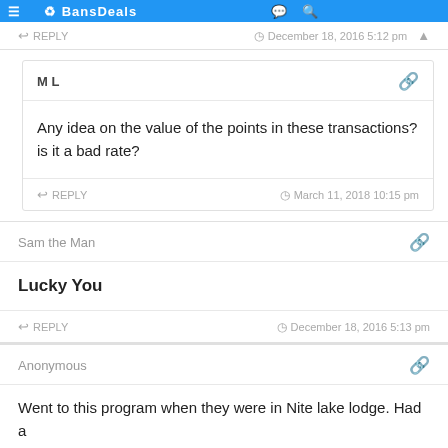BansDeals
REPLY   December 18, 2016 5:12 pm
M L
Any idea on the value of the points in these transactions? is it a bad rate?
REPLY   March 11, 2018 10:15 pm
Sam the Man
Lucky You
REPLY   December 18, 2016 5:13 pm
Anonymous
Went to this program when they were in Nite lake lodge. Had a